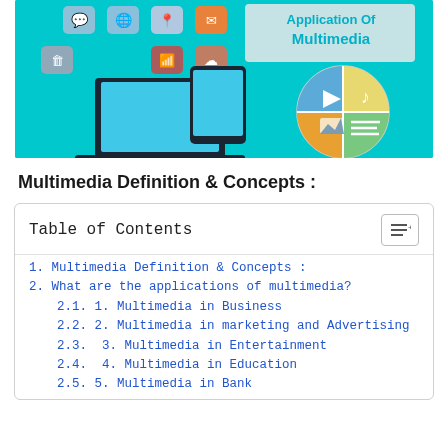[Figure (infographic): Cyan/teal banner infographic showing multimedia icons (social media, globe, location pin, email, wifi, cloud), laptop and tablet devices, and a circle divided into quadrants showing video play, music note, image, and document/text icons. Text 'Application Of Multimedia' visible in upper right area.]
Multimedia Definition & Concepts :
| Table of Contents |
| --- |
| 1. Multimedia Definition & Concepts : |
| 2. What are the applications of multimedia? |
| 2.1. 1. Multimedia in Business |
| 2.2. 2. Multimedia in marketing and Advertising |
| 2.3.  3. Multimedia in Entertainment |
| 2.4.  4. Multimedia in Education |
| 2.5. 5. Multimedia in Bank |